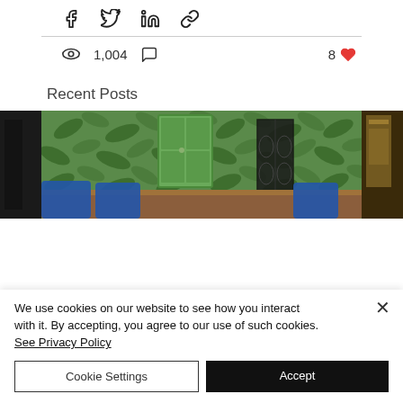[Figure (other): Social share icons row: Facebook, Twitter, LinkedIn, Link]
[Figure (other): Post stats: eye icon with 1,004 views, comment icon, 8 hearts]
Recent Posts
See All
[Figure (photo): Horizontal image strip showing three partially visible interior photos: left dark room, center room with green tropical wallpaper and green vintage door with ornate black screen divider and blue chairs around a wooden table, right dark room with golden accents]
We use cookies on our website to see how you interact with it. By accepting, you agree to our use of such cookies. See Privacy Policy
Cookie Settings
Accept